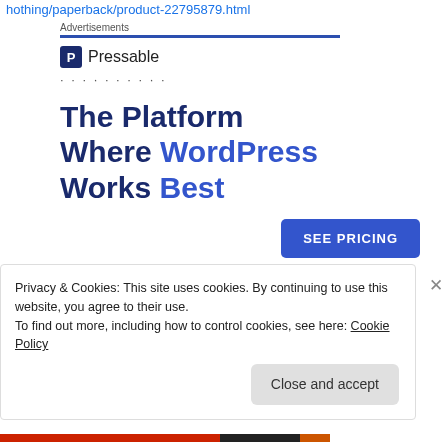hothing/paperback/product-22795879.html
Advertisements
[Figure (logo): Pressable brand logo with blue P icon and dots]
The Platform Where WordPress Works Best
SEE PRICING
Privacy & Cookies: This site uses cookies. By continuing to use this website, you agree to their use.
To find out more, including how to control cookies, see here: Cookie Policy
Close and accept